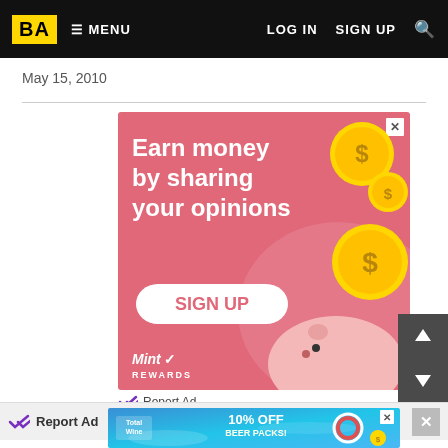BA | MENU | LOG IN | SIGN UP
May 15, 2010
[Figure (infographic): Advertisement: Earn money by sharing your opinions. MintRewards SIGN UP button with piggy bank and gold coins on pink background.]
Report Ad
[Figure (infographic): Total Wine advertisement: 10% OFF BEER PACKS on blue water background with life ring and coins.]
Report Ad